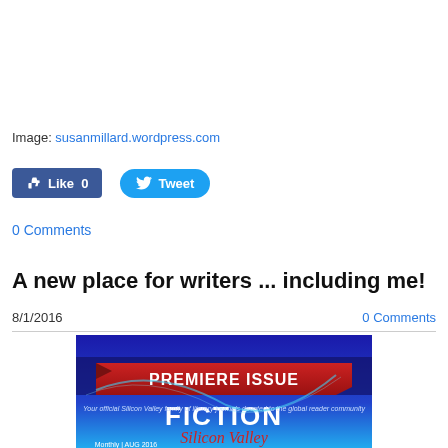Image: susanmillard.wordpress.com
[Figure (screenshot): Facebook Like button (Like 0) and Twitter Tweet button]
0 Comments
A new place for writers ... including me!
8/1/2016
0 Comments
[Figure (photo): Fiction Silicon Valley magazine cover showing PREMIERE ISSUE banner, Monthly AUG 2016, with blue and purple background and stylized FICTION Silicon Valley text]